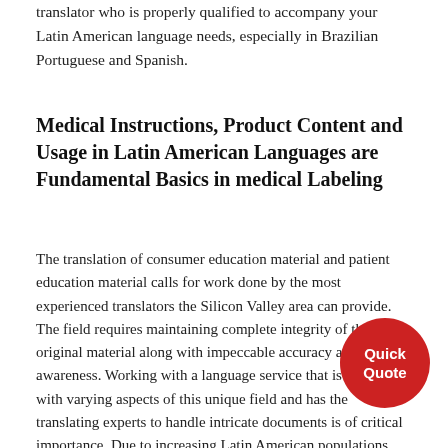translator who is properly qualified to accompany your Latin American language needs, especially in Brazilian Portuguese and Spanish.
Medical Instructions, Product Content and Usage in Latin American Languages are Fundamental Basics in medical Labeling
The translation of consumer education material and patient education material calls for work done by the most experienced translators the Silicon Valley area can provide. The field requires maintaining complete integrity of the original material along with impeccable accuracy and cultural awareness. Working with a language service that is familiar with varying aspects of this unique field and has the translating experts to handle intricate documents is of critical importance. Due to increasing Latin American populations each and every day, The Silicon Valley area is confronted with language barriers in Latin American based languages such as Spanish and Brazilian Portuguese. These translations must be produced with precise and complete accuracy in order to be properly used by individuals who speak Latin American based languages. A successful Latin American translator is able to
[Figure (other): Red circular button labeled 'Quick Quote']